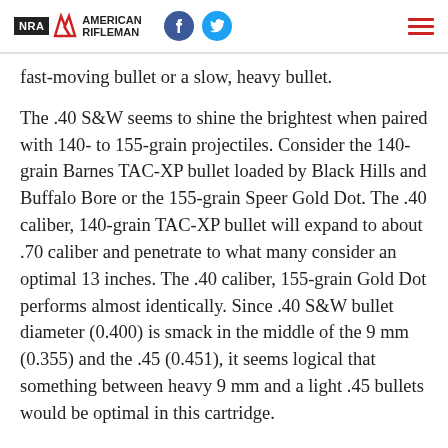NRA American Rifleman
fast-moving bullet or a slow, heavy bullet.
The .40 S&W seems to shine the brightest when paired with 140- to 155-grain projectiles. Consider the 140-grain Barnes TAC-XP bullet loaded by Black Hills and Buffalo Bore or the 155-grain Speer Gold Dot. The .40 caliber, 140-grain TAC-XP bullet will expand to about .70 caliber and penetrate to what many consider an optimal 13 inches. The .40 caliber, 155-grain Gold Dot performs almost identically. Since .40 S&W bullet diameter (0.400) is smack in the middle of the 9 mm (0.355) and the .45 (0.451), it seems logical that something between heavy 9 mm and a light .45 bullets would be optimal in this cartridge.